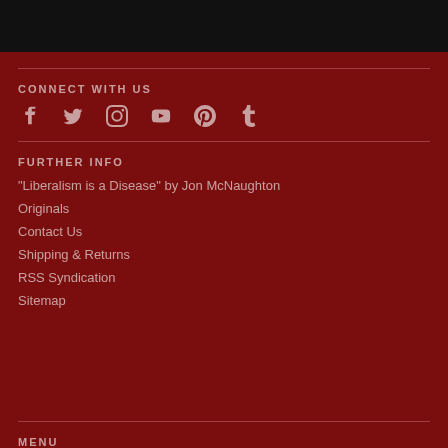[Figure (other): Black bar at top of page]
CONNECT WITH US
[Figure (other): Social media icons: Facebook, Twitter, Instagram, YouTube, Pinterest, Tumblr]
FURTHER INFO
"Liberalism is a Disease" by Jon McNaughton
Originals
Contact Us
Shipping & Returns
RSS Syndication
Sitemap
MENU